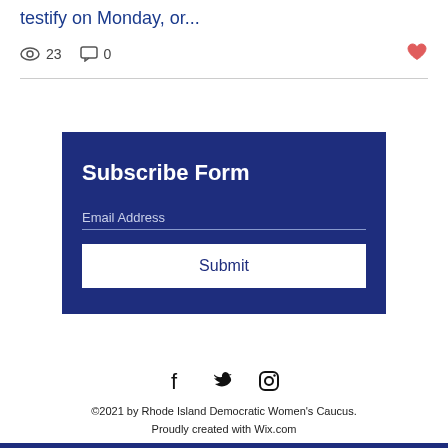testify on Monday, or...
👁 23  💬 0  ♡
Subscribe Form
Email Address
Submit
[Figure (other): Social media icons: Facebook, Twitter, Instagram]
©2021 by Rhode Island Democratic Women's Caucus. Proudly created with Wix.com